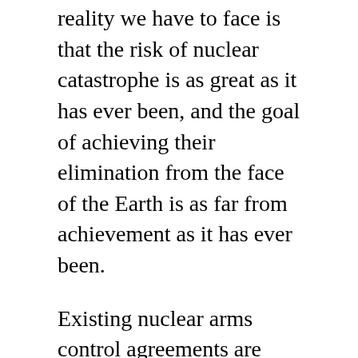reality we have to face is that the risk of nuclear catastrophe is as great as it has ever been, and the goal of achieving their elimination from the face of the Earth is as far from achievement as it has ever been.
Existing nuclear arms control agreements are dead or dying. Hopes for progress on denuclearizing the Korean Peninsula have completely stalled.  There has been no progress on moderating the salience of nuclear weapons in strategic doctrines: if anything the reverse.  With no action on disarmament by the nuclear weapons states, global commitment to the Nuclear Non-Proliferation Treaty remains fragile, and efforts to strengthen it impossible.  As to the